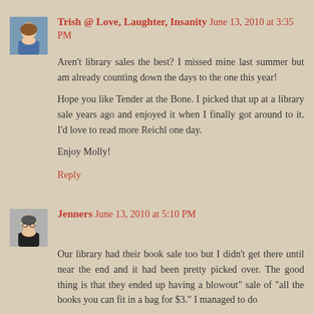Trish @ Love, Laughter, Insanity  June 13, 2010 at 3:35 PM
Aren't library sales the best? I missed mine last summer but am already counting down the days to the one this year!
Hope you like Tender at the Bone. I picked that up at a library sale years ago and enjoyed it when I finally got around to it. I'd love to read more Reichl one day.
Enjoy Molly!
Reply
Jenners  June 13, 2010 at 5:10 PM
Our library had their book sale too but I didn't get there until near the end and it had been pretty picked over. The good thing is that they ended up having a blowout" sale of "all the books you can fit in a bag for $3." I managed to do